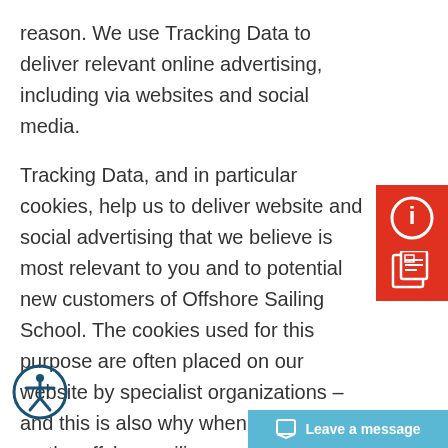reason. We use Tracking Data to deliver relevant online advertising, including via websites and social media.
Tracking Data, and in particular cookies, help us to deliver website and social advertising that we believe is most relevant to you and to potential new customers of Offshore Sailing School. The cookies used for this purpose are often placed on our website by specialist organizations – and this is also why when you've been on the offshoresailing.com or colgate26.com website, you might see that sailing course, activity or sailboa...
[Figure (infographic): Red sidebar with info circle icon and newspaper icon]
[Figure (infographic): Accessibility icon button (circle with person figure)]
[Figure (infographic): Leave a message button in teal/cyan color]